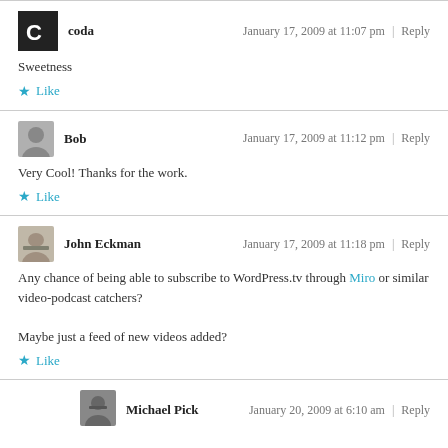coda — January 17, 2009 at 11:07 pm | Reply
Sweetness
★ Like
Bob — January 17, 2009 at 11:12 pm | Reply
Very Cool! Thanks for the work.
★ Like
John Eckman — January 17, 2009 at 11:18 pm | Reply
Any chance of being able to subscribe to WordPress.tv through Miro or similar video-podcast catchers?
Maybe just a feed of new videos added?
★ Like
Michael Pick — January 20, 2009 at 6:10 am | Reply